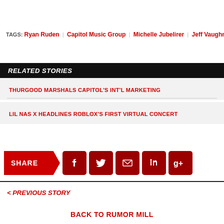TAGS: Ryan Ruden | Capitol Music Group | Michelle Jubelirer | Jeff Vaughn
RELATED STORIES
THURGOOD MARSHALS CAPITOL'S INT'L MARKETING
LIL NAS X HEADLINES ROBLOX'S FIRST VIRTUAL CONCERT
[Figure (infographic): Share bar with social media icons: SHARE button, Facebook, Twitter, Email, LinkedIn, Google+]
< PREVIOUS STORY
BACK TO RUMOR MILL